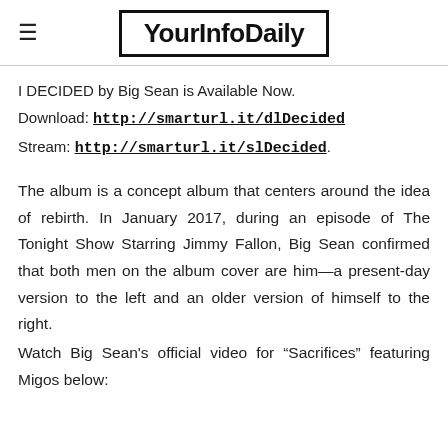YourInfoDaily
I DECIDED by Big Sean is Available Now.
Download: http://smarturl.it/dlDecided
Stream: http://smarturl.it/slDecided.
The album is a concept album that centers around the idea of rebirth. In January 2017, during an episode of The Tonight Show Starring Jimmy Fallon, Big Sean confirmed that both men on the album cover are him—a present-day version to the left and an older version of himself to the right.
Watch Big Sean's official video for “Sacrifices” featuring Migos below: